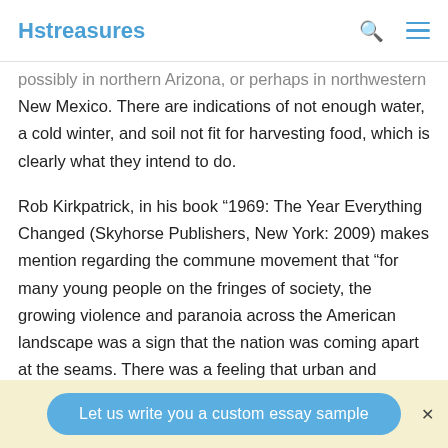Hstreasures
possibly in northern Arizona, or perhaps in northwestern New Mexico. There are indications of not enough water, a cold winter, and soil not fit for harvesting food, which is clearly what they intend to do.
Rob Kirkpatrick, in his book “1969: The Year Everything Changed (Skyhorse Publishers, New York: 2009) makes mention regarding the commune movement that “for many young people on the fringes of society, the growing violence and paranoia across the American landscape was a sign that the nation was coming apart at the seams. There was a feeling that urban and suburban life and threatened to remove humankind from its natural
Let us write you a custom essay sample